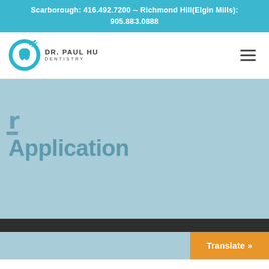Scarborough: 416.492.7200 – Richmond Hill(Elgin Mills): 905.883.0888
[Figure (logo): Dr. Paul Hu Dentistry logo with circular tooth icon and text DR. PAUL HU DENTISTRY]
Application
Translate »